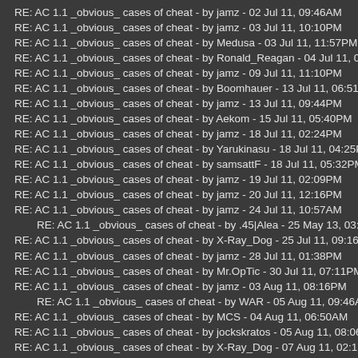RE: AC 1.1 _obvious_ cases of cheat - by jamz - 02 Jul 11, 09:46AM
RE: AC 1.1 _obvious_ cases of cheat - by jamz - 03 Jul 11, 10:10PM
RE: AC 1.1 _obvious_ cases of cheat - by Medusa - 03 Jul 11, 11:57PM
RE: AC 1.1 _obvious_ cases of cheat - by Ronald_Reagan - 04 Jul 11, 07:59AM
RE: AC 1.1 _obvious_ cases of cheat - by jamz - 09 Jul 11, 11:10PM
RE: AC 1.1 _obvious_ cases of cheat - by Boomhauer - 13 Jul 11, 06:51AM
RE: AC 1.1 _obvious_ cases of cheat - by jamz - 13 Jul 11, 09:44PM
RE: AC 1.1 _obvious_ cases of cheat - by Aekom - 15 Jul 11, 05:40PM
RE: AC 1.1 _obvious_ cases of cheat - by jamz - 18 Jul 11, 02:24PM
RE: AC 1.1 _obvious_ cases of cheat - by Yarukinasu - 18 Jul 11, 04:25PM
RE: AC 1.1 _obvious_ cases of cheat - by samsattF - 18 Jul 11, 05:32PM
RE: AC 1.1 _obvious_ cases of cheat - by jamz - 19 Jul 11, 02:09PM
RE: AC 1.1 _obvious_ cases of cheat - by jamz - 20 Jul 11, 12:16PM
RE: AC 1.1 _obvious_ cases of cheat - by jamz - 24 Jul 11, 10:57AM
RE: AC 1.1 _obvious_ cases of cheat - by .45|Alea - 25 May 13, 03:04AM
RE: AC 1.1 _obvious_ cases of cheat - by X-Ray_Dog - 25 Jul 11, 09:16PM
RE: AC 1.1 _obvious_ cases of cheat - by jamz - 28 Jul 11, 01:38PM
RE: AC 1.1 _obvious_ cases of cheat - by Mr.OpTic - 30 Jul 11, 07:11PM
RE: AC 1.1 _obvious_ cases of cheat - by jamz - 03 Aug 11, 08:16PM
RE: AC 1.1 _obvious_ cases of cheat - by WAR - 05 Aug 11, 09:46AM
RE: AC 1.1 _obvious_ cases of cheat - by MCS - 04 Aug 11, 06:50AM
RE: AC 1.1 _obvious_ cases of cheat - by jockskratos - 05 Aug 11, 08:06PM
RE: AC 1.1 _obvious_ cases of cheat - by X-Ray_Dog - 07 Aug 11, 02:17AM
RE: AC 1.1 _obvious_ cases of cheat - by jamz - 08 Aug 11, 10:34PM
RE: AC 1.1 _obvious_ cases of cheat - by Joe Smith - 09 Aug 11, 07:10AM